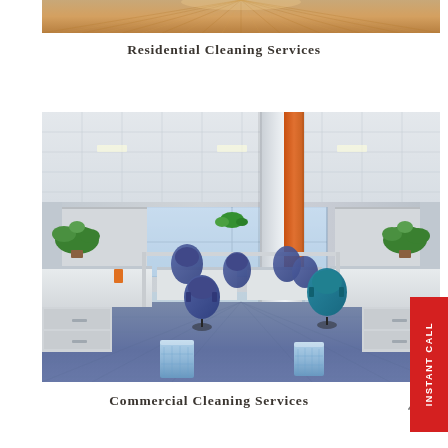[Figure (photo): Partial view of a wooden floor with radiating grain lines, cropped at top of page]
Residential Cleaning Services
[Figure (photo): Office interior with cubicle workstations, blue office chairs, blue waste bins, green potted plants, white column with orange accent, carpet floor — a commercial office space]
Commercial Cleaning Services